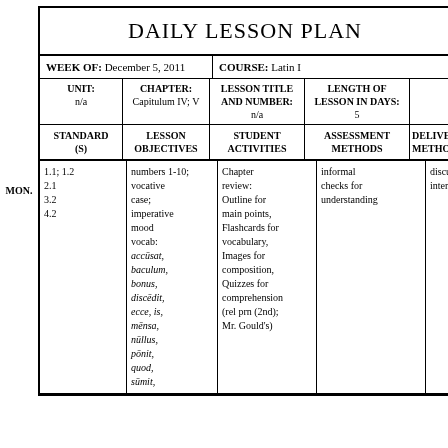DAILY LESSON PLAN
| WEEK OF | COURSE | UNIT | CHAPTER | LESSON TITLE AND NUMBER | LENGTH OF LESSON IN DAYS | STANDARD (S) | LESSON OBJECTIVES | STUDENT ACTIVITIES | ASSESSMENT METHODS | DELIVERY METHODS |
| --- | --- | --- | --- | --- | --- | --- | --- | --- | --- | --- |
| December 5, 2011 | Latin I | n/a | Capitulum IV; V | n/a | 5 | 1.1; 1.2
2.1
3.2
4.2 | numbers 1-10; vocative case; imperative mood vocab: accūsat, baculum, bonus, discēdit, ecce, is, mēnsa, nūllus, pōnit, quod, sūmit, | Chapter review: Outline for main points, Flashcards for vocabulary, Images for composition, Quizzes for comprehension (rel prn (2nd); Mr. Gould's) | informal checks for understanding | discussion; interact |